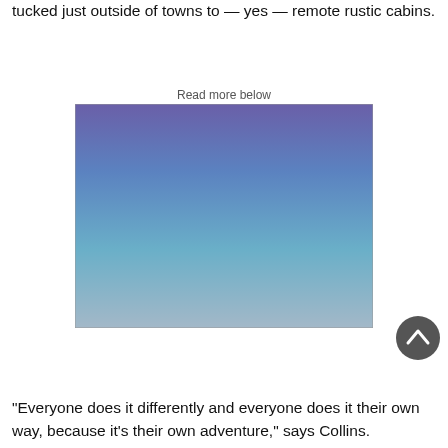tucked just outside of towns to — yes — remote rustic cabins.
Read more below
[Figure (photo): A rectangular image with a color gradient transitioning from purple/blue at the top to a lighter blue-gray at the bottom, resembling a sky or abstract backdrop.]
“Everyone does it differently and everyone does it their own way, because it’s their own adventure,” says Collins.